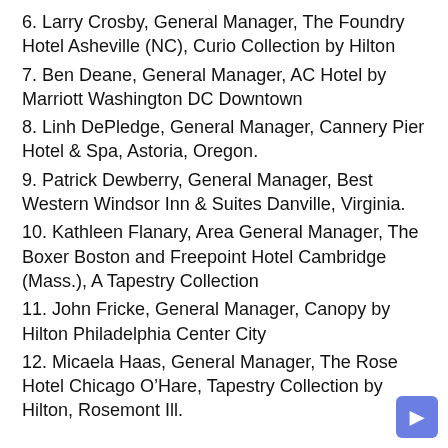6. Larry Crosby, General Manager, The Foundry Hotel Asheville (NC), Curio Collection by Hilton
7. Ben Deane, General Manager, AC Hotel by Marriott Washington DC Downtown
8. Linh DePledge, General Manager, Cannery Pier Hotel & Spa, Astoria, Oregon.
9. Patrick Dewberry, General Manager, Best Western Windsor Inn & Suites Danville, Virginia.
10. Kathleen Flanary, Area General Manager, The Boxer Boston and Freepoint Hotel Cambridge (Mass.), A Tapestry Collection
11. John Fricke, General Manager, Canopy by Hilton Philadelphia Center City
12. Micaela Haas, General Manager, The Rose Hotel Chicago O’Hare, Tapestry Collection by Hilton, Rosemont Ill.